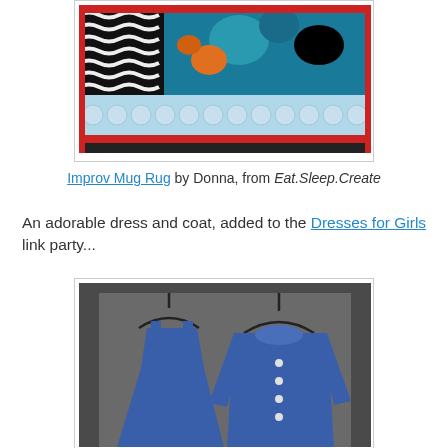[Figure (photo): Close-up photo of a colorful improv mug rug with black and white wave pattern, teal floral fabric, and red scalloped border, displayed in a white-bordered frame.]
Improv Mug Rug by Donna, from Eat.Sleep.Create
An adorable dress and coat, added to the Dresses for Girls link party...
[Figure (photo): Photo of two blue children's garments (a sleeveless dress and a long-sleeved coat with peter pan collar and buttons) hanging on black hangers against a dark background.]